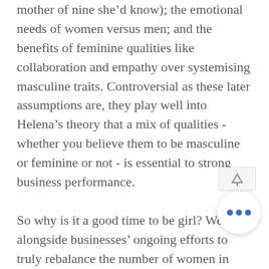mother of nine she'd know); the emotional needs of women versus men; and the benefits of feminine qualities like collaboration and empathy over systemising masculine traits. Controversial as these later assumptions are, they play well into Helena's theory that a mix of qualities - whether you believe them to be masculine or feminine or not - is essential to strong business performance.

So why is it a good time to be girl? Well, alongside businesses' ongoing efforts to truly rebalance the number of women in powerful positions, we are as a society are undergoing an immense amount of change. Education, politics